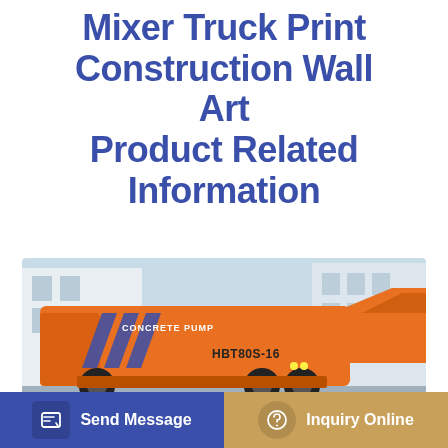Mixer Truck Print Construction Wall Art Product Related Information
[Figure (photo): Orange concrete pump truck (HBT80S-16) labeled 'CONCRETE PUMP' with blue diagonal stripe markings, and a yellow/orange hopper attachment, parked in front of a building with a light blue sky background.]
Send Message
Inquiry Online